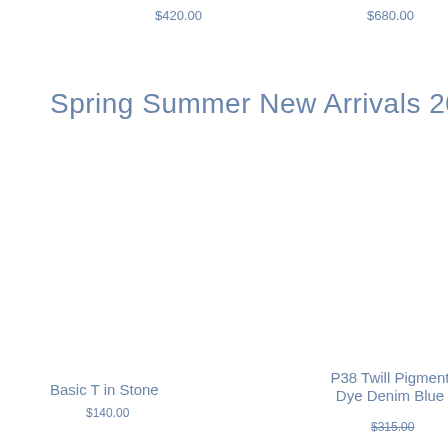$420.00
$680.00
Feather
$380
Spring Summer New Arrivals 2022
Basic T in Stone
$140.00
P38 Twill Pigment Dye Denim Blue
$315.00
P38 Twill Dye Vinto
$315